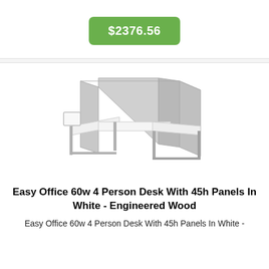$2376.56
[Figure (photo): Product photo of Easy Office 60w 4 Person Desk with 45h Panels in White - Engineered Wood. Shows a 4-person cubicle workstation with gray fabric panels and white desktops with metal frame legs.]
Easy Office 60w 4 Person Desk With 45h Panels In White - Engineered Wood
Easy Office 60w 4 Person Desk With 45h Panels In White -